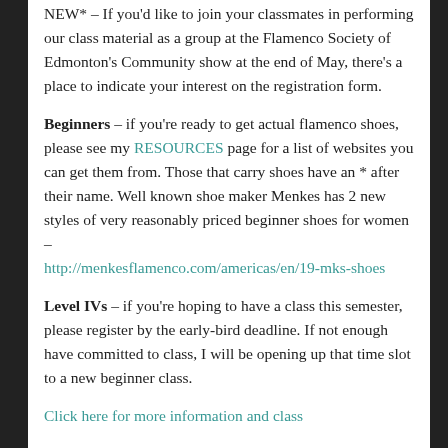NEW* – If you'd like to join your classmates in performing our class material as a group at the Flamenco Society of Edmonton's Community show at the end of May, there's a place to indicate your interest on the registration form.
Beginners – if you're ready to get actual flamenco shoes, please see my RESOURCES page for a list of websites you can get them from. Those that carry shoes have an * after their name. Well known shoe maker Menkes has 2 new styles of very reasonably priced beginner shoes for women – http://menkesflamenco.com/americas/en/19-mks-shoes
Level IVs – if you're hoping to have a class this semester, please register by the early-bird deadline. If not enough have committed to class, I will be opening up that time slot to a new beginner class.
Click here for more information and class